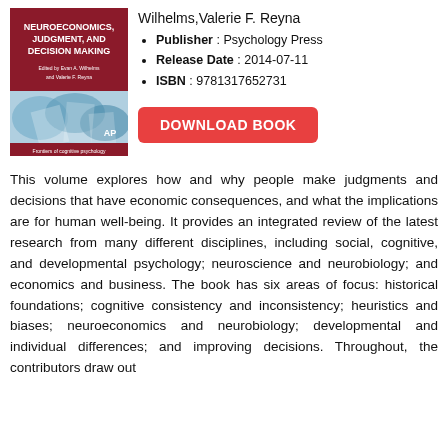[Figure (illustration): Book cover of 'Neuroeconomics, Judgment, and Decision Making' edited by Evan A. Wilhelms and Valerie F. Reyna, published by Psychology Press. Dark red top with white text title, lower portion shows an abstract blue/white geometric image.]
Wilhelms,Valerie F. Reyna
Publisher : Psychology Press
Release Date : 2014-07-11
ISBN : 9781317652731
DOWNLOAD BOOK
This volume explores how and why people make judgments and decisions that have economic consequences, and what the implications are for human well-being. It provides an integrated review of the latest research from many different disciplines, including social, cognitive, and developmental psychology; neuroscience and neurobiology; and economics and business. The book has six areas of focus: historical foundations; cognitive consistency and inconsistency; heuristics and biases; neuroeconomics and neurobiology; developmental and individual differences; and improving decisions. Throughout, the contributors draw out